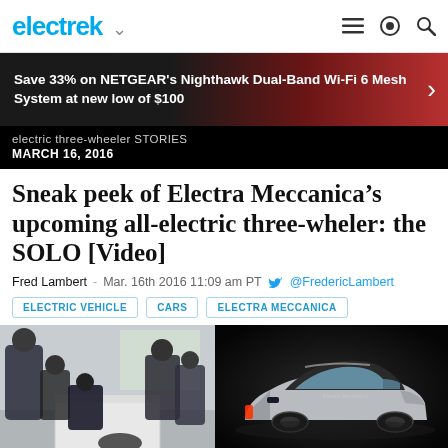electrek
Save 33% on NETGEAR's Nighthawk Dual-Band Wi-Fi 6 Mesh System at new low of $100
electric three-wheeler STORIES
MARCH 16, 2016
Sneak peek of Electra Meccanica's upcoming all-electric three-wheler: the SOLO [Video]
Fred Lambert  -  Mar. 16th 2016 11:09 am PT   @FredericLambert
ELECTRIC VEHICLE
CARS
ELECTRA MECCANICA
[Figure (photo): Left: people gathered around what appears to be a white box/crate in an indoor space. Right: silver three-wheeled electric vehicle design render on dark background.]